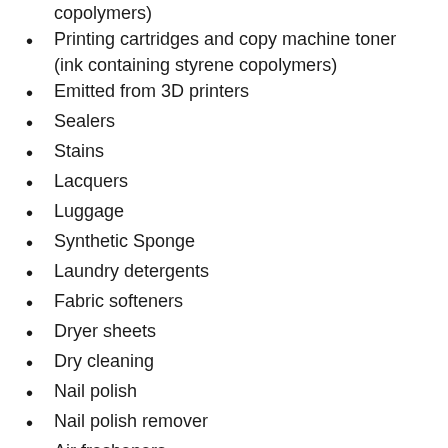copolymers)
Printing cartridges and copy machine toner (ink containing styrene copolymers)
Emitted from 3D printers
Sealers
Stains
Lacquers
Luggage
Synthetic Sponge
Laundry detergents
Fabric softeners
Dryer sheets
Dry cleaning
Nail polish
Nail polish remover
Air fresheners
Lubricants
Toys
Electronics